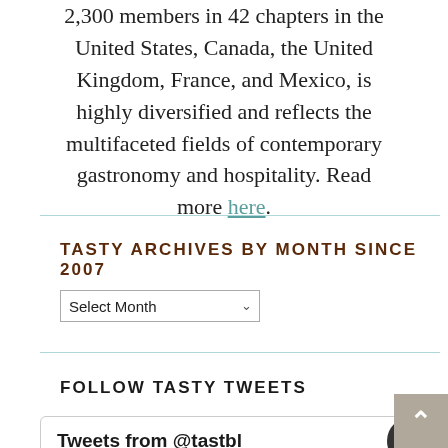2,300 members in 42 chapters in the United States, Canada, the United Kingdom, France, and Mexico, is highly diversified and reflects the multifaceted fields of contemporary gastronomy and hospitality. Read more here.
TASTY ARCHIVES BY MONTH SINCE 2007
Select Month
FOLLOW TASTY TWEETS
[Figure (screenshot): Tweets widget partial view with a dark oval/button shape on the right side]